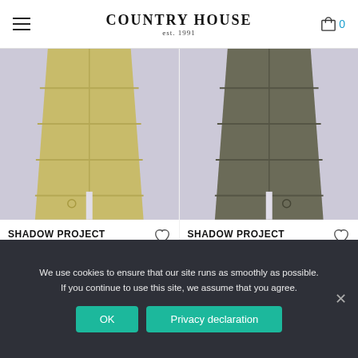COUNTRY HOUSE est. 1991
[Figure (photo): Product image of Shadow Project Seamless Tunnel Down Nylon-TC jacket in yellow/olive color on light purple background]
SHADOW PROJECT SEAMLESS TUNNEL DOWN NYLON-TC
€519,00
[Figure (photo): Product image of Shadow Project Seamless Tunnel Down Nylon-TC jacket in dark olive/grey color on light purple background]
SHADOW PROJECT SEAMLESS TUNNEL DOWN NYLON-TC
€519,00
We use cookies to ensure that our site runs as smoothly as possible. If you continue to use this site, we assume that you agree.